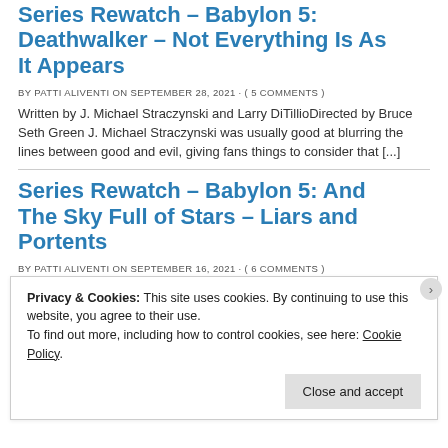Series Rewatch – Babylon 5: Deathwalker – Not Everything Is As It Appears
BY PATTI ALIVENTI ON SEPTEMBER 28, 2021 · ( 5 COMMENTS )
Written by J. Michael Straczynski and Larry DiTillioDirected by Bruce Seth Green J. Michael Straczynski was usually good at blurring the lines between good and evil, giving fans things to consider that [...]
Series Rewatch – Babylon 5: And The Sky Full of Stars – Liars and Portents
BY PATTI ALIVENTI ON SEPTEMBER 16, 2021 · ( 6 COMMENTS )
Privacy & Cookies: This site uses cookies. By continuing to use this website, you agree to their use. To find out more, including how to control cookies, see here: Cookie Policy.